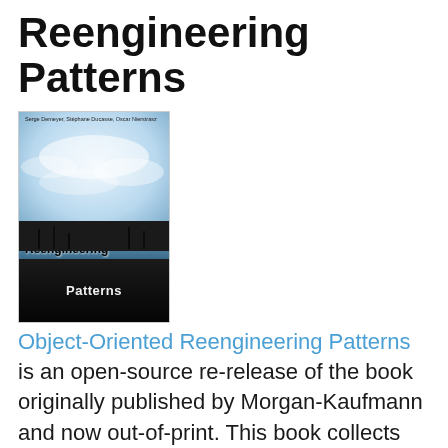Reengineering Patterns
[Figure (photo): Book cover of 'Object-Oriented Reengineering Patterns' showing a cloudy sky with industrial silhouettes and a dark bottom band with the word 'Patterns']
Object-Oriented Reengineering Patterns is an open-source re-release of the book originally published by Morgan-Kaufmann and now out-of-print. This book collects and distills successful techniques in planning a reengineering project, reverse-engineering, problem detection, migration strategies and software redesign. The PDF can be downloaded freely, or you may purchase an inexpensive print-on-demand softcover volume